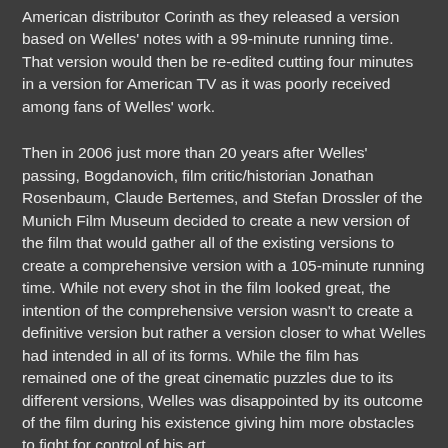American distributor Corinth as they released a version based on Welles' notes with a 99-minute running time. That version would then be re-edited cutting four minutes in a version for American TV as it was poorly received among fans of Welles' work.
Then in 2006 just more than 20 years after Welles' passing, Bogdanovich, film critic/historian Jonathan Rosenbaum, Claude Bertemes, and Stefan Drossler of the Munich Film Museum decided to create a new version of the film that would gather all of the existing versions to create a comprehensive version with a 105-minute running time. While not every shot in the film looked great, the intention of the comprehensive version wasn't to create a definitive version but rather a version closer to what Welles had intended in all of its forms. While the film has remained one of the great cinematic puzzles due to its different versions, Welles was disappointed by its outcome of the film during his existence giving him more obstacles to fight for control of his art.
Early TV projects and Portrait of Gina